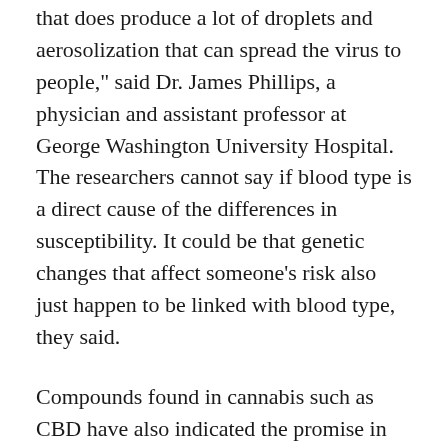that does produce a lot of droplets and aerosolization that can spread the virus to people," said Dr. James Phillips, a physician and assistant professor at George Washington University Hospital. The researchers cannot say if blood type is a direct cause of the differences in susceptibility. It could be that genetic changes that affect someone's risk also just happen to be linked with blood type, they said.
Compounds found in cannabis such as CBD have also indicated the promise in different other areas, such as treating anxiety and pain relief. While these therapeutic benefits have not been investigated in patients with COVID-19, how long does cbd gummies last they could offer exciting areas of future study. Using a series of sophisticated molecular docking and